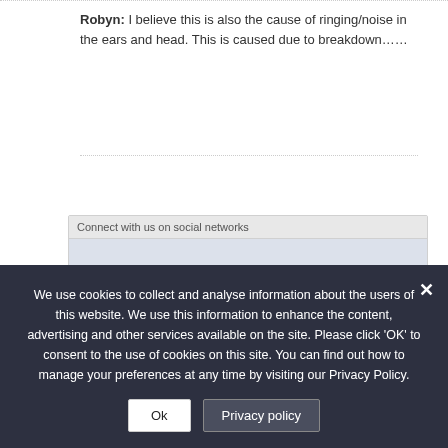Robyn: I believe this is also the cause of ringing/noise in the ears and head. This is caused due to breakdown……
[Figure (screenshot): A social media widget box for Twitter: 'Connect with us on social networks' header, blue area, Follow @SustainablePuls button, 3,944 followers badge]
We use cookies to collect and analyse information about the users of this website. We use this information to enhance the content, advertising and other services available on the site. Please click 'OK' to consent to the use of cookies on this site. You can find out how to manage your preferences at any time by visiting our Privacy Policy.